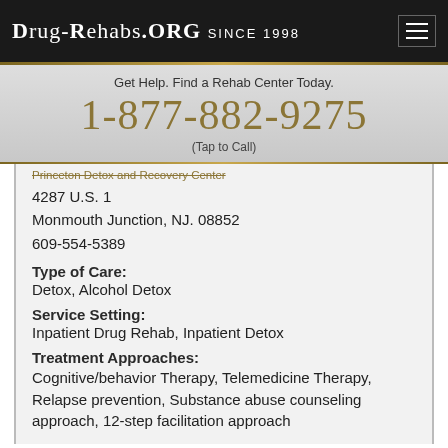DRUG-REHABS.ORG SINCE 1998
Get Help. Find a Rehab Center Today.
1-877-882-9275
(Tap to Call)
Princeton Detox and Recovery Center
4287 U.S. 1
Monmouth Junction, NJ. 08852
609-554-5389
Type of Care:
Detox, Alcohol Detox
Service Setting:
Inpatient Drug Rehab, Inpatient Detox
Treatment Approaches:
Cognitive/behavior Therapy, Telemedicine Therapy, Relapse prevention, Substance abuse counseling approach, 12-step facilitation approach